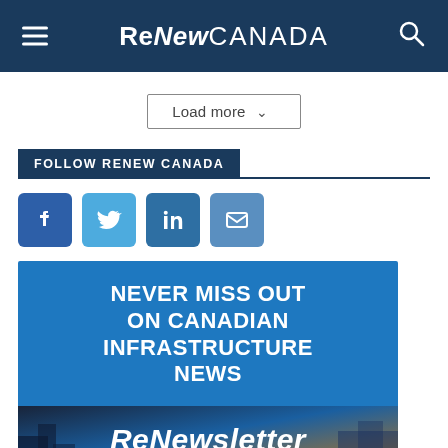ReNew CANADA
Load more
FOLLOW RENEW CANADA
[Figure (infographic): Social media icons: Facebook, Twitter, LinkedIn, Email]
[Figure (infographic): Newsletter advertisement banner with headline 'NEVER MISS OUT ON CANADIAN INFRASTRUCTURE NEWS' and ReNewsletter logo over a city skyline background]